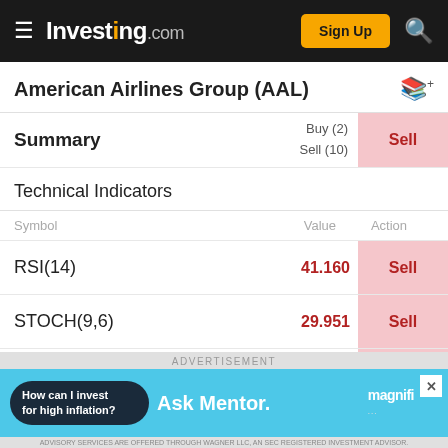Investing.com — Sign Up
American Airlines Group (AAL)
| Symbol | Value | Action |
| --- | --- | --- |
| Summary | Buy (2) Sell (10) | Sell |
| RSI(14) | 41.160 | Sell |
| STOCH(9,6) | 29.951 | Sell |
| STOCHRSI(14) | 40.126 | Sell |
Technical Indicators
[Figure (screenshot): Advertisement banner: Ask Mentor by Magnifi — How can I invest for high inflation?]